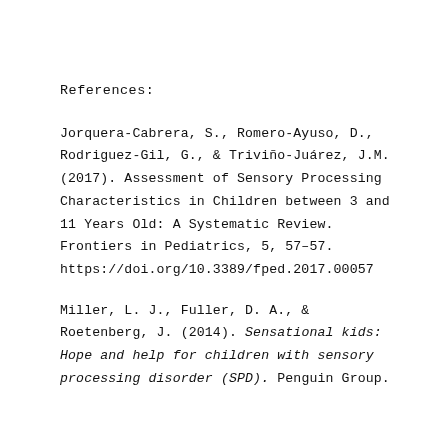References:
Jorquera-Cabrera, S., Romero-Ayuso, D., Rodriguez-Gil, G., & Triviño-Juárez, J.M. (2017). Assessment of Sensory Processing Characteristics in Children between 3 and 11 Years Old: A Systematic Review. Frontiers in Pediatrics, 5, 57–57. https://doi.org/10.3389/fped.2017.00057
Miller, L. J., Fuller, D. A., & Roetenberg, J. (2014). Sensational kids: Hope and help for children with sensory processing disorder (SPD). Penguin Group.